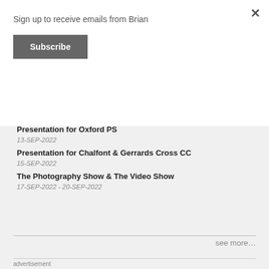Sign up to receive emails from Brian
Subscribe
×
Presentation for Oxford PS
13-SEP-2022
Presentation for Chalfont & Gerrards Cross CC
15-SEP-2022
The Photography Show & The Video Show
17-SEP-2022 - 20-SEP-2022
see more…
advertisement
[Figure (infographic): Dark navy blue banner with white bold text reading 'have you read these...']
[Figure (photo): Partial photo strip showing trees/forest scene in muted tones]